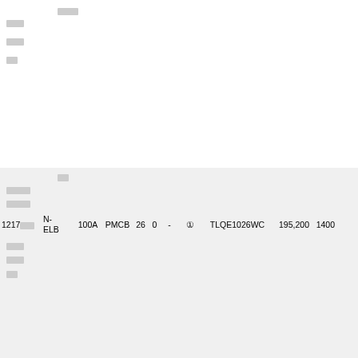| 1217□□□ | N-ELB | 100A | PMCB | 26 | 0 | - | ① | TLQE1026WC | 195,200 | 1400 |
| 1218□□□ | N-MCB | 100A | PMCB | 26 | 0 | - | ① | TLQM1026WC | 182,100 | 1400 |